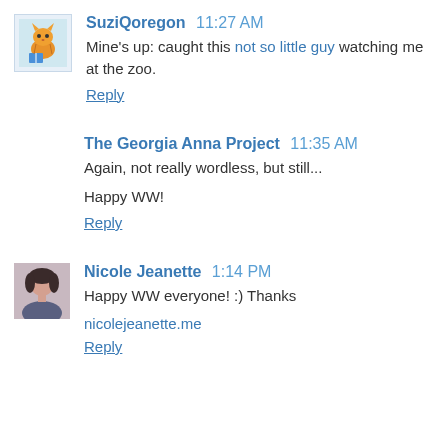SuziQoregon 11:27 AM
Mine's up: caught this not so little guy watching me at the zoo.
Reply
The Georgia Anna Project 11:35 AM
Again, not really wordless, but still...

Happy WW!
Reply
Nicole Jeanette 1:14 PM
Happy WW everyone! :) Thanks
nicolejeanette.me
Reply